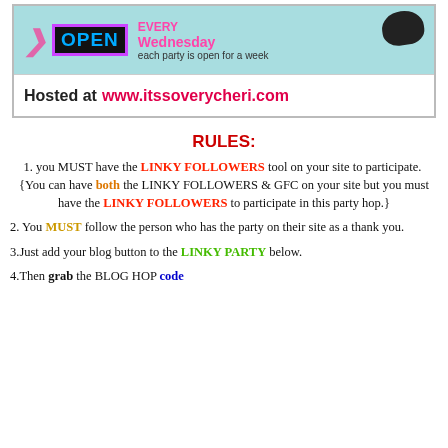[Figure (infographic): Banner image with teal/light-blue top section showing an OPEN neon sign, arrows, 'EVERY Wednesday each party is open for a week' text, and bottom white section reading 'Hosted at www.itssoverycheri.com']
RULES:
1. you MUST have the LINKY FOLLOWERS tool on your site to participate. {You can have both the LINKY FOLLOWERS & GFC on your site but you must have the LINKY FOLLOWERS to participate in this party hop.}
2. You MUST follow the person who has the party on their site as a thank you.
3.Just add your blog button to the LINKY PARTY below.
4.Then grab the BLOG HOP code